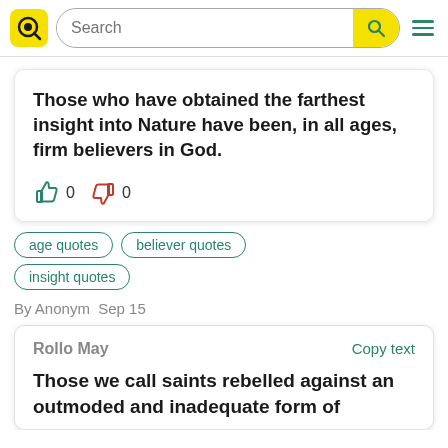Search
Those who have obtained the farthest insight into Nature have been, in all ages, firm believers in God.
👍 0  👎 0
age quotes
believer quotes
insight quotes
By Anonym  Sep 15
Rollo May
Copy text
Those we call saints rebelled against an outmoded and inadequate form of